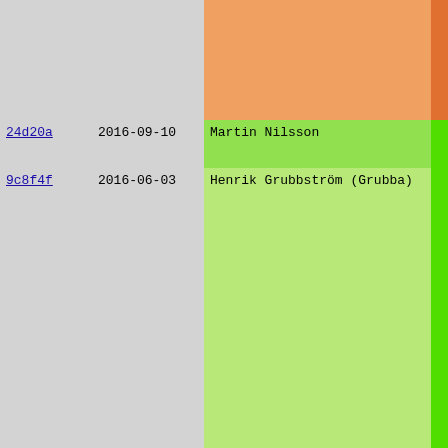| Hash | Date | Author | Message |
| --- | --- | --- | --- |
|  |  |  | New features
------------ |
| 24d20a | 2016-09-10 | Martin Nilsson | o Protocols... |
| 9c8f4f | 2016-06-03 | Henrik Grubbström (Grubba) | feed() can...
the header...
o Protocols...
Added clie... |
| 6dcf16 | 2016-05-15 | Peter Bortas | Bug fixes
--------- |
| 9c8f4f | 2016-06-03 | Henrik Grubbström (Grubba) | o Documentat...
Fixed some...
o Fixed asse...
Indexing o...
with an ob...
failures.
o Filesyste... |